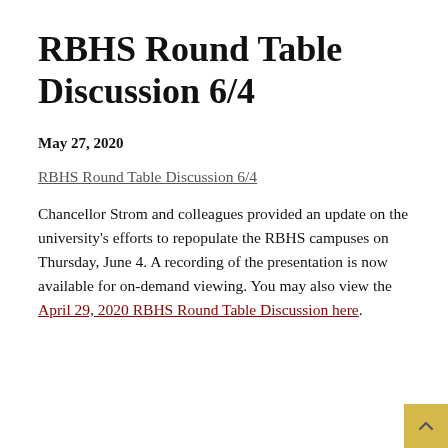RBHS Round Table Discussion 6/4
May 27, 2020
RBHS Round Table Discussion 6/4
Chancellor Strom and colleagues provided an update on the university's efforts to repopulate the RBHS campuses on Thursday, June 4. A recording of the presentation is now available for on-demand viewing. You may also view the April 29, 2020 RBHS Round Table Discussion here.